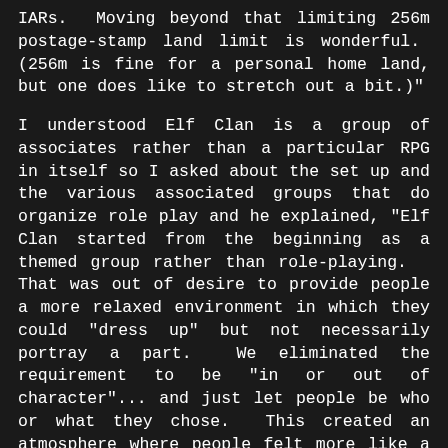IARs.  Moving beyond that limiting 256m postage-stamp land limit is wonderful.  (256m is fine for a personal home land, but one does like to stretch out a bit.)"
I understood Elf Clan is a group of associates rather than a particular RPG in itself so I asked about the set up and the various associated groups that do organize role play and he explained, "Elf Clan started from the beginning as a themed group rather than role-playing.   That was out of desire to provide people a more relaxed environment in which they could "dress up" but not necessarily portray a part.  We eliminated the requirement to be "in or out of character"... and just let people be who or what they chose.  This created an atmosphere where people felt more like a friendly community and have lots of fun "shape shifting"-- being whatever character they feel like at the moment.  Myself for example:  I play the part both of High Elven and a tiny dragon... depending on my mood that day.  Both parts are very different in personality and I am told I significantly "role play" both parts... but to me it's more like pretend and just having fun.  I naturally  tend to take on the personality of the avatar I am wearing, so enjoy the concept of "theme" rather